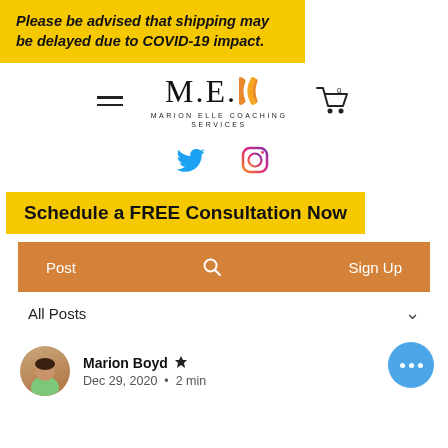Please be advised that shipping may be delayed due to COVID-19 impact.
[Figure (logo): M.E. Marion Elle Coaching Services logo with orange chevrons, hamburger menu, and cart icon]
[Figure (illustration): Twitter bird icon (blue) and Instagram icon (purple/pink gradient)]
Schedule a FREE Consultation Now
Post    [search icon]    Sign Up
All Posts
[Figure (photo): Circular avatar photo of Marion Boyd]
Marion Boyd [crown icon]
Dec 29, 2020 · 2 min